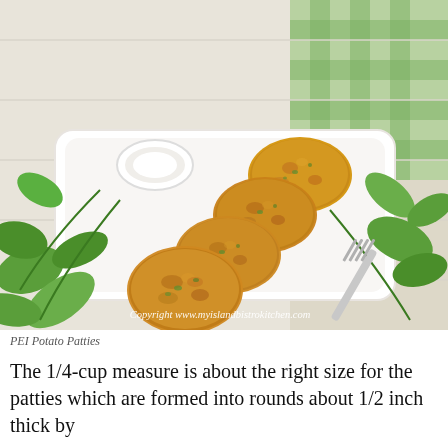[Figure (photo): Four golden-brown pan-fried PEI potato patties arranged diagonally on a white rectangular plate, garnished with fresh cilantro/parsley sprigs and a small white dipping sauce bowl, with a fork on the right side. Background has green and white checkered cloth. Copyright watermark reads: Copyright www.myislandbistrokitchen.com]
PEI Potato Patties
The 1/4-cup measure is about the right size for the patties which are formed into rounds about 1/2 inch thick by